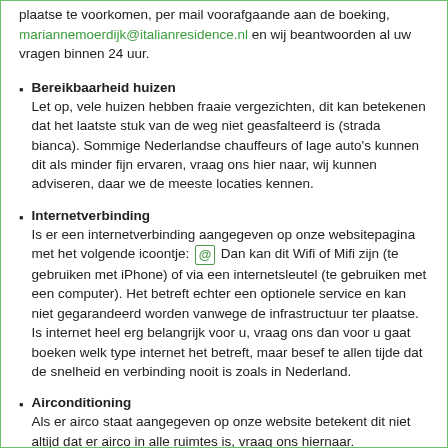plaatse te voorkomen, per mail voorafgaande aan de boeking, mariannemoerdijk@italianresidence.nl en wij beantwoorden al uw vragen binnen 24 uur.
Bereikbaarheid huizen
Let op, vele huizen hebben fraaie vergezichten, dit kan betekenen dat het laatste stuk van de weg niet geasfalteerd is (strada bianca). Sommige Nederlandse chauffeurs of lage auto’s kunnen dit als minder fijn ervaren, vraag ons hier naar, wij kunnen adviseren, daar we de meeste locaties kennen.
Internetverbinding
Is er een internetverbinding aangegeven op onze websitepagina met het volgende icoontje: @ Dan kan dit Wifi of Mifi zijn (te gebruiken met iPhone) of via een internetsleutel (te gebruiken met een computer). Het betreft echter een optionele service en kan niet gegarandeerd worden vanwege de infrastructuur ter plaatse. Is internet heel erg belangrijk voor u, vraag ons dan voor u gaat boeken welk type internet het betreft, maar besef te allen tijde dat de snelheid en verbinding nooit is zoals in Nederland.
Airconditioning
Als er airco staat aangegeven op onze website betekent dit niet altijd dat er airco in alle ruimtes is, vraag ons hiernaar.